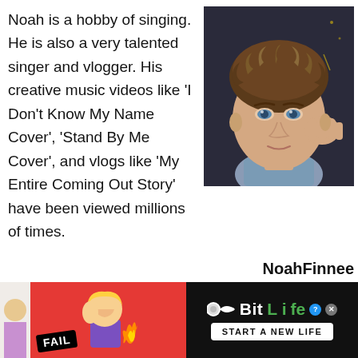Noah is a hobby of singing. He is also a very talented singer and vlogger. His creative music videos like 'I Don't Know My Name Cover', 'Stand By Me Cover', and vlogs like 'My Entire Coming Out Story' have been viewed millions of times.
[Figure (photo): Selfie photo of a young man with curly brown hair, blue eyes, resting his head on his hand, wearing a light blue shirt, with a dark background.]
NoahFinnee
[Figure (photo): Advertisement banner for BitLife game. Red background with 'FAIL' badge, animated character, flames, BitLife logo with 'START A NEW LIFE' button on black background.]